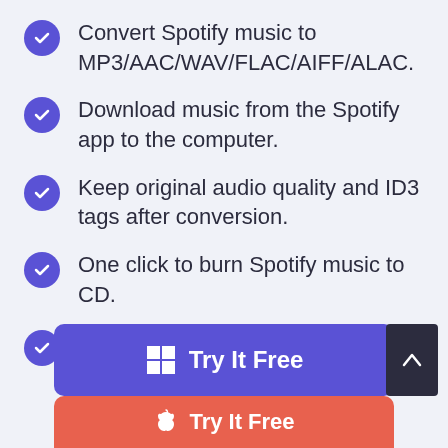Convert Spotify music to MP3/AAC/WAV/FLAC/AIFF/ALAC.
Download music from the Spotify app to the computer.
Keep original audio quality and ID3 tags after conversion.
One click to burn Spotify music to CD.
Free updates and technical support.
[Figure (screenshot): Blue 'Try It Free' button with Windows logo icon]
[Figure (screenshot): Red/coral 'Try It Free' button with Apple logo icon, partially visible]